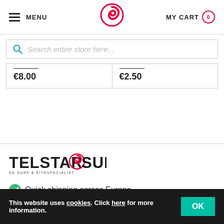MENU | [Logo] | MY CART 0
Search entire store here...
| €8.00 | €2.50 |
[Figure (logo): Telstar Surf logo - DE SURF & KITESPECIALIST]
Quick shipping across Europe
30 days return policy
This website uses cookies. Click here for more information.